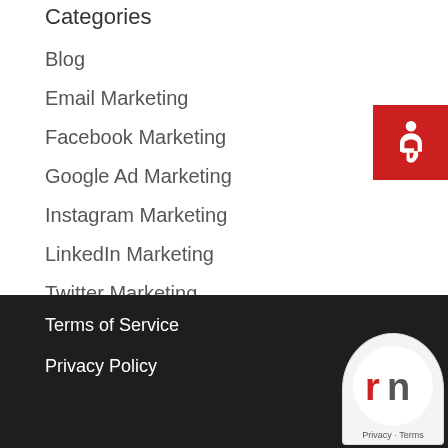Categories
Blog
Email Marketing
Facebook Marketing
Google Ad Marketing
Instagram Marketing
LinkedIn Marketing
Twitter Marketing
[Figure (other): Accessibility wheelchair icon on red background]
Terms of Service
Privacy Policy
[Figure (logo): rn logo with Privacy - Terms text below]